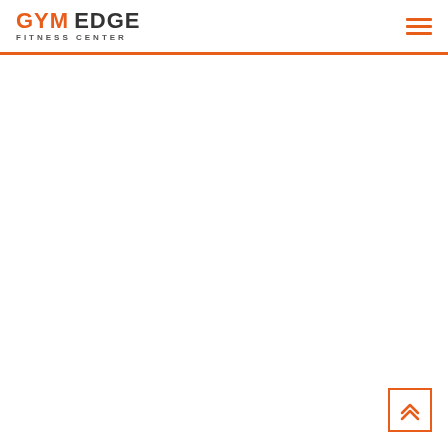GYM EDGE FITNESS CENTER
[Figure (logo): Gym Edge Fitness Center logo with orange GYM text and dark EDGE text, FITNESS CENTER subtitle in small caps]
[Figure (illustration): Orange hamburger menu icon (three horizontal lines) in top right corner]
[Figure (illustration): Scroll-to-top button: orange bordered square with double chevron arrow pointing up]